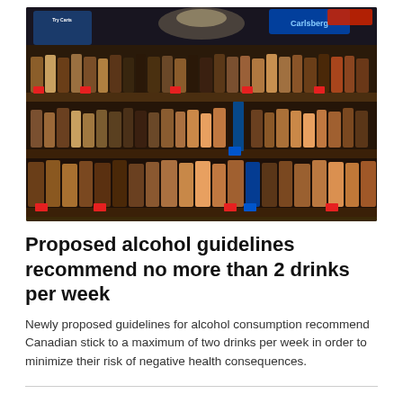[Figure (photo): Interior of a liquor store showing shelves stocked with many bottles of alcohol in a large retail store setting with overhead lighting.]
Proposed alcohol guidelines recommend no more than 2 drinks per week
Newly proposed guidelines for alcohol consumption recommend Canadian stick to a maximum of two drinks per week in order to minimize their risk of negative health consequences.
'She was happy. She was feisty': Manitoba's oldest resident passes away at 111 years old